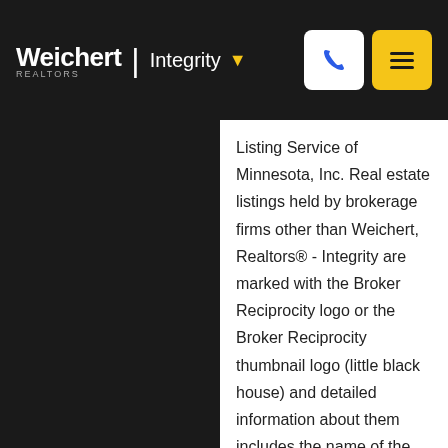Weichert | Integrity
Listing Service of Minnesota, Inc. Real estate listings held by brokerage firms other than Weichert, Realtors® - Integrity are marked with the Broker Reciprocity logo or the Broker Reciprocity thumbnail logo (little black house) and detailed information about them includes the name of the listing brokers. The broker providing these data believes them to be correct, but advises